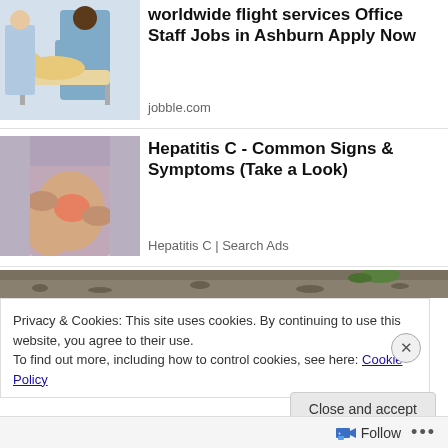[Figure (photo): Veterinarian in blue scrubs examining a golden retriever dog on a table, with another person in background]
worldwide flight services Office Staff Jobs in Ashburn Apply Now
jobble.com
[Figure (photo): Person massaging or treating a knee/leg area with highlighted pain indication in pink/red]
Hepatitis C - Common Signs & Symptoms (Take a Look)
Hepatitis C | Search Ads
[Figure (photo): Partial outdoor scene with gravel/ground visible at top of cookie notice banner]
Privacy & Cookies: This site uses cookies. By continuing to use this website, you agree to their use.
To find out more, including how to control cookies, see here: Cookie Policy
Close and accept
Follow ...